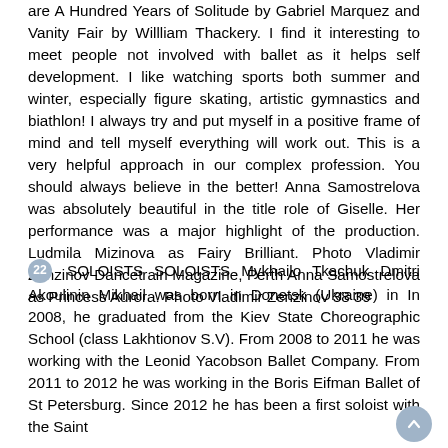are A Hundred Years of Solitude by Gabriel Marquez and Vanity Fair by Willliam Thackery. I find it interesting to meet people not involved with ballet as it helps self development. I like watching sports both summer and winter, especially figure skating, artistic gymnastics and biathlon! I always try and put myself in a positive frame of mind and tell myself everything will work out. This is a very helpful approach in our complex profession. You should always believe in the better! Anna Samostrelova was absolutely beautiful in the title role of Giselle. Her performance was a major highlight of the production. Ludmila Mizinova as Fairy Brilliant. Photo Vladimir Zenzinov Dancetrain Magazine, Perth Anna Samostrelova as Princess Aurora. Photo Vladimir Zenzinov 38 39
22 SOLOISTS SOLOISTS Mykhailo Tkachuk Dmitri Akoulinin Mikhail was born in Donetsk (Ukraine) in In 2008, he graduated from the Kiev State Choreographic School (class Lakhtionov S.V). From 2008 to 2011 he was working with the Leonid Yacobson Ballet Company. From 2011 to 2012 he was working in the Boris Eifman Ballet of St Petersburg. Since 2012 he has been a first soloist with the Saint